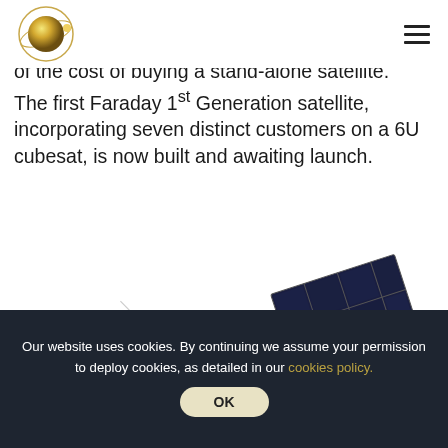[Faraday logo] [hamburger menu]
of the cost of buying a stand-alone satellite. The first Faraday 1st Generation satellite, incorporating seven distinct customers on a 6U cubesat, is now built and awaiting launch.
[Figure (photo): Photograph of the Faraday 6U cubesat satellite showing solar panels deployed and small antennas, viewed at an angle against a white background.]
Our website uses cookies. By continuing we assume your permission to deploy cookies, as detailed in our cookies policy.